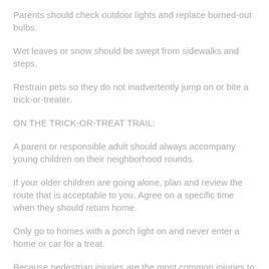Parents should check outdoor lights and replace burned-out bulbs.
Wet leaves or snow should be swept from sidewalks and steps.
Restrain pets so they do not inadvertently jump on or bite a trick-or-treater.
ON THE TRICK-OR-TREAT TRAIL:
A parent or responsible adult should always accompany young children on their neighborhood rounds.
If your older children are going alone, plan and review the route that is acceptable to you. Agree on a specific time when they should return home.
Only go to homes with a porch light on and never enter a home or car for a treat.
Because pedestrian injuries are the most common injuries to children on Halloween, remind Trick-or-Treaters.
Stay close and cross streets only at corners, they will be on the edge of the page...